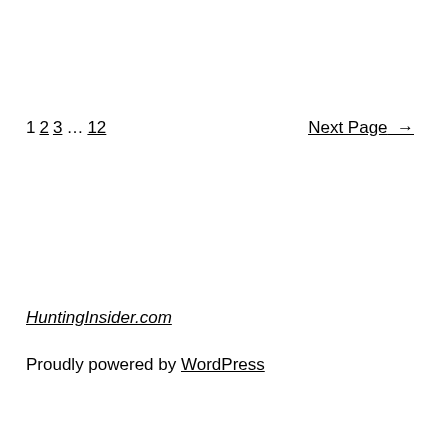1 2 3 … 12   Next Page →
HuntingInsider.com
Proudly powered by WordPress